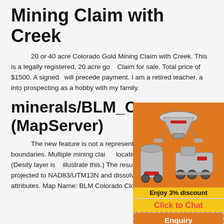Mining Claim with Creek
20 or 40 acre Colorado Gold Mining Claim with Creek. This is a legally registered, 20 acre go[ld] Claim for sale. Total price of $1500. A signed [contract] will precede payment. I am a retired teacher, a[nd got] into prospecting as a hobby with my family.
minerals/BLM_C[olorado] (MapServer)
The new feature is not a representation o[f] mining claim boundaries. Multiple mining clai[ms] located within the same area. (Desity layer is [used to] illustrate this.) The resulting GIS dataset has b[een] projected to NAD83/UTM13N and dissolved on case level attributes. Map Name: BLM Colorado Closed
[Figure (infographic): Orange advertisement overlay showing mining equipment (crusher, mill machines) with text 'Enjoy 3% discount', 'Click to Chat', 'Enquiry', 'limingjlmofen@sina.com']